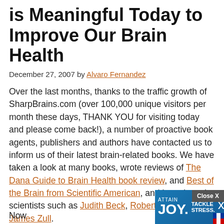is Meaningful Today to Improve Our Brain Health
December 27, 2007 by Alvaro Fernandez
Over the last months, thanks to the traffic growth of SharpBrains.com (over 100,000 unique visitors per month these days, THANK YOU for visiting today and please come back!), a number of proactive book agents, publishers and authors have contacted us to inform us of their latest brain-related books. We have taken a look at many books, wrote reviews of The Dana Guide to Brain Health book review, and Best of the Brain from Scientific American, and interviewed scientists such as Judith Beck, Robert Emmons and James Zull.
Now
[Figure (screenshot): Advertisement banner for Xen - Attain Joy, Tackle Stress, Learn About Your Vagus Nerve]